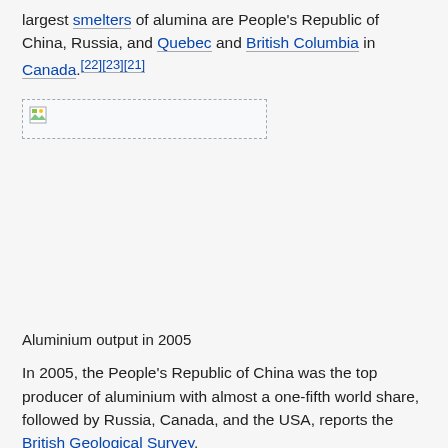largest smelters of alumina are People's Republic of China, Russia, and Quebec and British Columbia in Canada.[22][23][21]
[Figure (photo): A broken/unloaded image placeholder showing a small image icon, representing an image of aluminium output data or related graphic.]
Aluminium output in 2005
In 2005, the People's Republic of China was the top producer of aluminium with almost a one-fifth world share, followed by Russia, Canada, and the USA, reports the British Geological Survey.